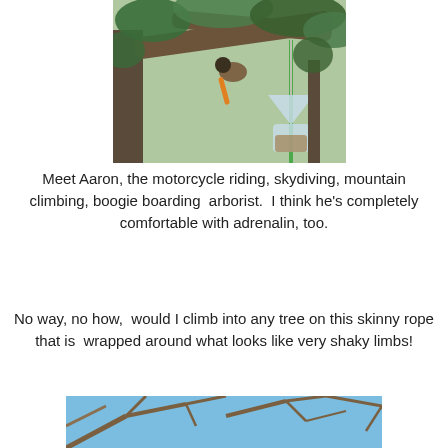[Figure (photo): Person climbing in a large tree, with a transparent bird feeder hanging from a branch. The tree has large branches and a canopy of green foliage.]
Meet Aaron, the motorcycle riding, skydiving, mountain climbing, boogie boarding  arborist.  I think he's completely comfortable with adrenalin, too.
No way, no how,  would I climb into any tree on this skinny rope that is  wrapped around what looks like very shaky limbs!
[Figure (photo): Bare tree branches against a blue sky, viewed from below.]